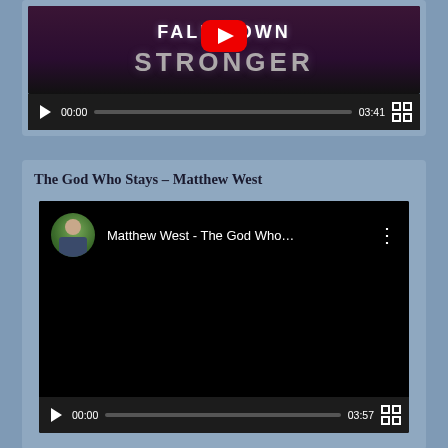[Figure (screenshot): Partially visible YouTube video player showing a music video titled with 'FALL DOWN STRONGER' text on a dark purple background with YouTube play button. Controls show 00:00 / 03:41.]
The God Who Stays – Matthew West
[Figure (screenshot): YouTube video player for Matthew West - The God Who Stays. Shows channel avatar (outdoor portrait photo), video title 'Matthew West - The God Who...' and three-dot menu. Black video area below. Controls show 00:00 / 03:57.]